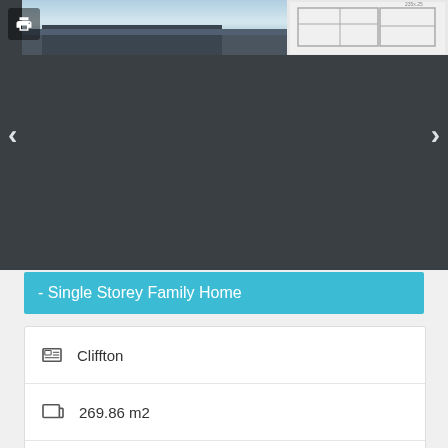[Figure (screenshot): Image slider showing a single storey home exterior photo (sky and building visible at top) and a floor plan thumbnail. Dark background with left/right navigation arrows and a print icon.]
- Single Storey Family Home
| Cliffton |
| 269.86 m2 |
| 4 Bedrooms |